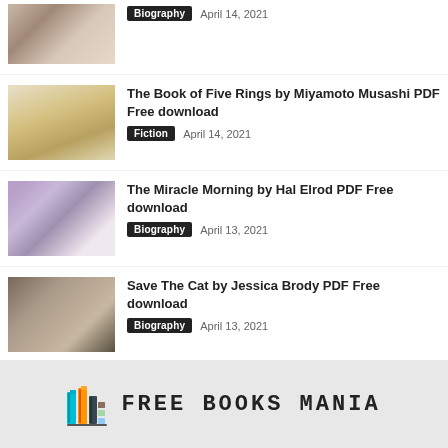Biography   April 14, 2021
The Book of Five Rings by Miyamoto Musashi PDF Free download — Fiction   April 14, 2021
The Miracle Morning by Hal Elrod PDF Free download — Biography   April 13, 2021
Save The Cat by Jessica Brody PDF Free download — Biography   April 13, 2021
FREE BOOKS MANIA